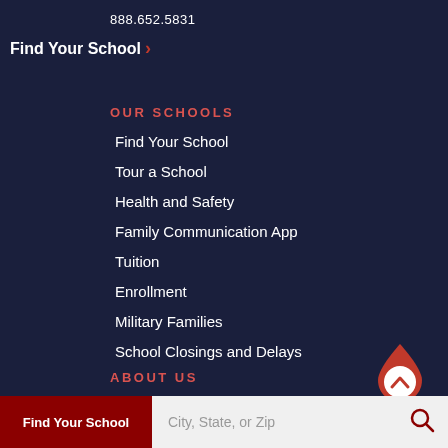888.652.5831
Find Your School ›
OUR SCHOOLS
Find Your School
Tour a School
Health and Safety
Family Communication App
Tuition
Enrollment
Military Families
School Closings and Delays
[Figure (illustration): Drop/teardrop shaped icon with chevron up arrow inside, red and white, labeled TOP]
ABOUT US
Diversity & Inclusion
Find Your School
City, State, or Zip